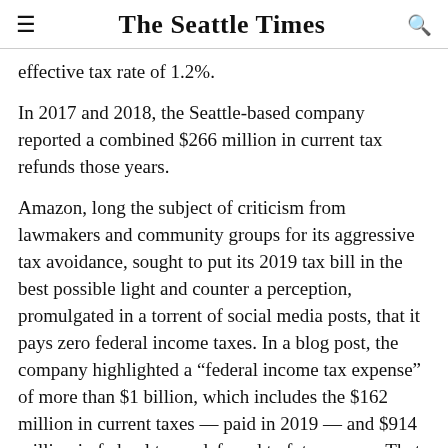The Seattle Times
effective tax rate of 1.2%.
In 2017 and 2018, the Seattle-based company reported a combined $266 million in current tax refunds those years.
Amazon, long the subject of criticism from lawmakers and community groups for its aggressive tax avoidance, sought to put its 2019 tax bill in the best possible light and counter a perception, promulgated in a torrent of social media posts, that it pays zero federal income taxes. In a blog post, the company highlighted a “federal income tax expense” of more than $1 billion, which includes the $162 million in current taxes — paid in 2019 — and $914 million in federal taxes deferred to future years. That would amount to a tax rate of 7.5% on